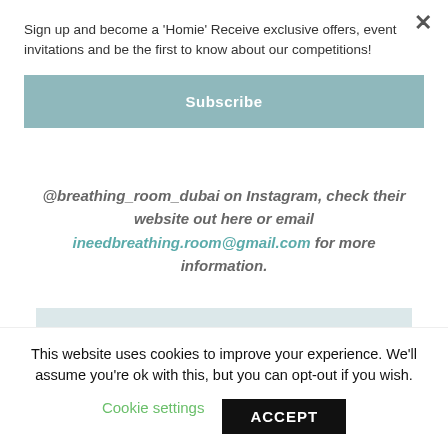Sign up and become a 'Homie' Receive exclusive offers, event invitations and be the first to know about our competitions!
Subscribe
@breathing_room_dubai on Instagram, check their website out here or email ineedbreathing.room@gmail.com for more information.
FIND MORE FEATURED VENDORS →
This website uses cookies to improve your experience. We'll assume you're ok with this, but you can opt-out if you wish.
Cookie settings
ACCEPT